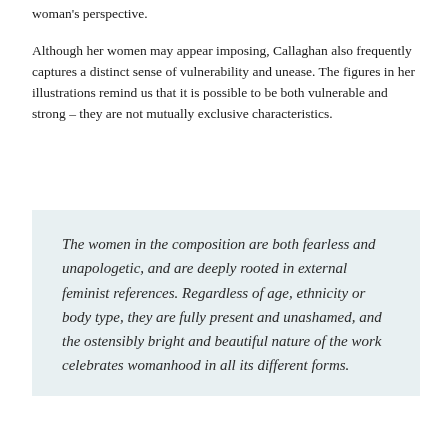woman's perspective.
Although her women may appear imposing, Callaghan also frequently captures a distinct sense of vulnerability and unease. The figures in her illustrations remind us that it is possible to be both vulnerable and strong – they are not mutually exclusive characteristics.
The women in the composition are both fearless and unapologetic, and are deeply rooted in external feminist references. Regardless of age, ethnicity or body type, they are fully present and unashamed, and the ostensibly bright and beautiful nature of the work celebrates womanhood in all its different forms.